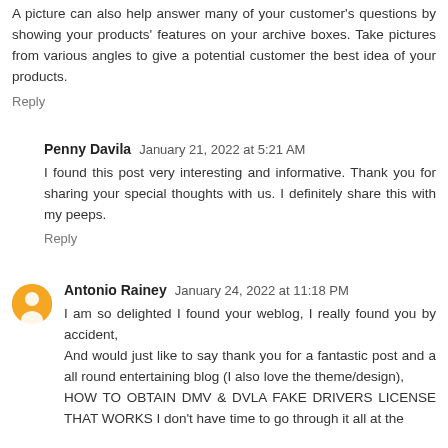A picture can also help answer many of your customer's questions by showing your products' features on your archive boxes. Take pictures from various angles to give a potential customer the best idea of your products.
Reply
Penny Davila  January 21, 2022 at 5:21 AM
I found this post very interesting and informative. Thank you for sharing your special thoughts with us. I definitely share this with my peeps.
Reply
Antonio Rainey  January 24, 2022 at 11:18 PM
I am so delighted I found your weblog, I really found you by accident,
And would just like to say thank you for a fantastic post and a all round entertaining blog (I also love the theme/design),
HOW TO OBTAIN DMV & DVLA FAKE DRIVERS LICENSE THAT WORKS I don't have time to go through it all at the